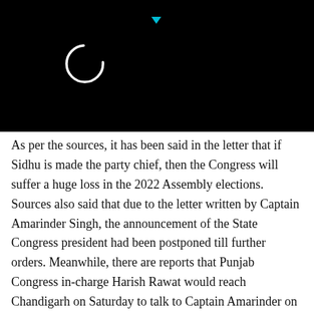[Figure (screenshot): Black header area with a circular loading/spinner icon in white outline and a small cyan downward-pointing triangle at the top center]
As per the sources, it has been said in the letter that if Sidhu is made the party chief, then the Congress will suffer a huge loss in the 2022 Assembly elections. Sources also said that due to the letter written by Captain Amarinder Singh, the announcement of the State Congress president had been postponed till further orders. Meanwhile, there are reports that Punjab Congress in-charge Harish Rawat would reach Chandigarh on Saturday to talk to Captain Amarinder on the issue.
Earlier in the day, Navjot Singh Sidhu met Congress president Sonia Gandhi and Rahul Gandhi in Delhi, a day